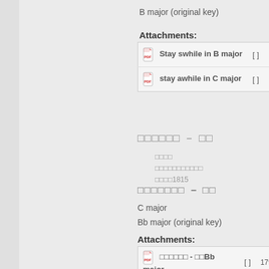B major (original key)
Attachments:
| File |  | Size |
| --- | --- | --- |
| Stay swhile in B major | [ ] | 14... k |
| stay awhile in C major | [ ] | 14... k |
□□□□□□ - □□
□□□□
□□□□□□□□□□□
□□□□1815
□□□□□□□ - □□
C major
Bb major (original key)
Attachments:
| File |  | Size |
| --- | --- | --- |
| □□□□□□ - □□Bb major | [ ] | 179 kB |
| □□□□□□ - □□C major | [ ] | 180 kB |